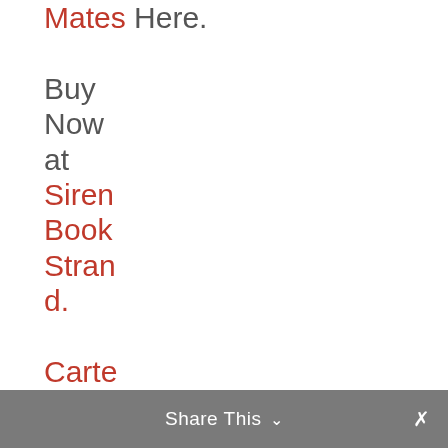Mates Here. Buy Now at Siren Book Strand. Carter Finds Two Mates on Amazon
Share This ∨  ✕